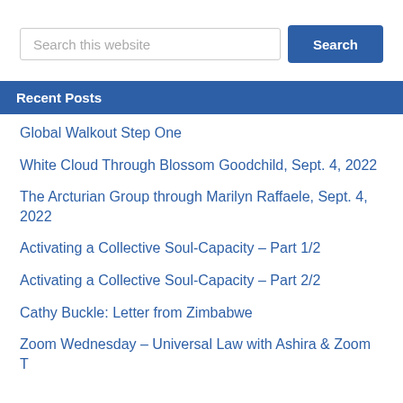[Figure (screenshot): Search input box with placeholder text 'Search this website' and a blue 'Search' button]
Recent Posts
Global Walkout Step One
White Cloud Through Blossom Goodchild, Sept. 4, 2022
The Arcturian Group through Marilyn Raffaele, Sept. 4, 2022
Activating a Collective Soul-Capacity – Part 1/2
Activating a Collective Soul-Capacity – Part 2/2
Cathy Buckle: Letter from Zimbabwe
Zoom Wednesday – Universal Law with Ashira & Zoom Tuesday, Sandhya has a Meditation